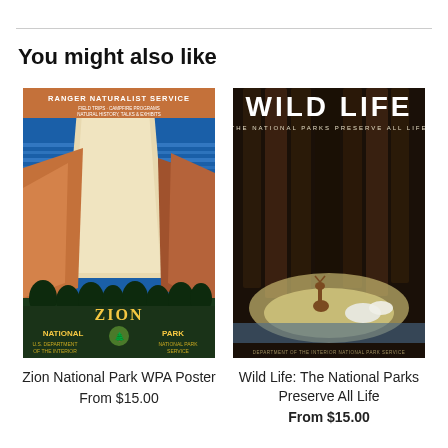You might also like
[Figure (illustration): WPA-style poster for Zion National Park showing orange and tan canyon walls against a blue sky with text 'Ranger Naturalist Service' at top and 'Zion National Park' at bottom, U.S. Department of the Interior, National Park Service]
Zion National Park WPA Poster
From $15.00
[Figure (illustration): WPA-style poster titled 'WILD LIFE - The National Parks Preserve All Life' showing dark tree trunks in a forest with a deer and white swans near water, Department of the Interior National Park Service]
Wild Life: The National Parks Preserve All Life
From $15.00